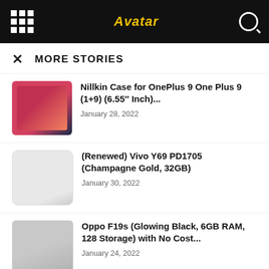Avatar
MORE STORIES
[Figure (photo): Pink/red Nillkin phone case for OnePlus 9]
Nillkin Case for OnePlus 9 One Plus 9 (1+9) (6.55" Inch)...
January 28, 2022
[Figure (photo): White Vivo Y69 smartphone]
(Renewed) Vivo Y69 PD1705 (Champagne Gold, 32GB)
January 30, 2022
[Figure (photo): Oppo F19s smartphone in Glowing Black]
Oppo F19s (Glowing Black, 6GB RAM, 128 Storage) with No Cost...
January 24, 2022